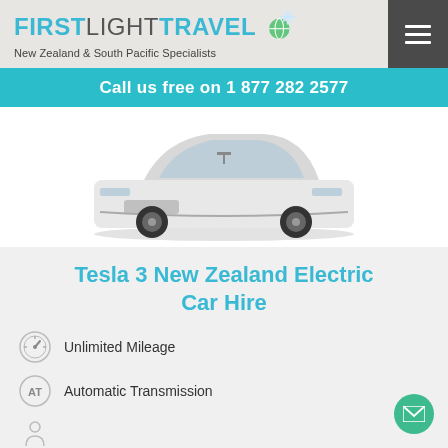FIRSTLIGHTTRAVEL — New Zealand & South Pacific Specialists
Call us free on 1 877 282 2577
[Figure (photo): White Tesla Model X SUV, front three-quarter view on white background]
Tesla 3 New Zealand Electric Car Hire
Unlimited Mileage
Automatic Transmission
5 Seats